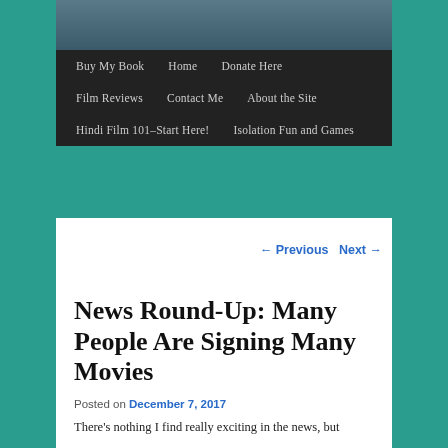[Figure (photo): Partial photo of a person, cropped at top of page]
Buy My Book | Home | Donate Here | Film Reviews | Contact Me | About the Site | Hindi Film 101–Start Here! | Isolation Fun and Games
← Previous   Next →
News Round-Up: Many People Are Signing Many Movies
Posted on December 7, 2017
There's nothing I find really exciting in the news, but